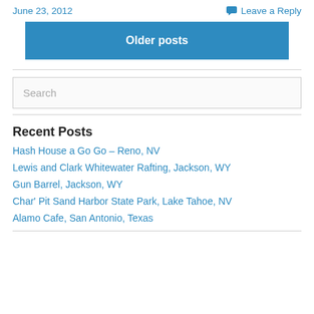June 23, 2012
Leave a Reply
Older posts
Search
Recent Posts
Hash House a Go Go – Reno, NV
Lewis and Clark Whitewater Rafting, Jackson, WY
Gun Barrel, Jackson, WY
Char' Pit Sand Harbor State Park, Lake Tahoe, NV
Alamo Cafe, San Antonio, Texas